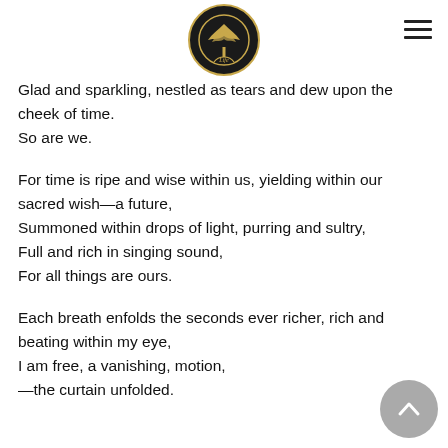[Figure (logo): Church of Life circular logo with gold tree illustration on black background, gold border]
Glad and sparkling, nestled as tears and dew upon the cheek of time.
So are we.
For time is ripe and wise within us, yielding within our sacred wish—a future,
Summoned within drops of light, purring and sultry,
Full and rich in singing sound,
For all things are ours.
Each breath enfolds the seconds ever richer, rich and beating within my eye,
I am free, a vanishing, motion,
—the curtain unfolded.